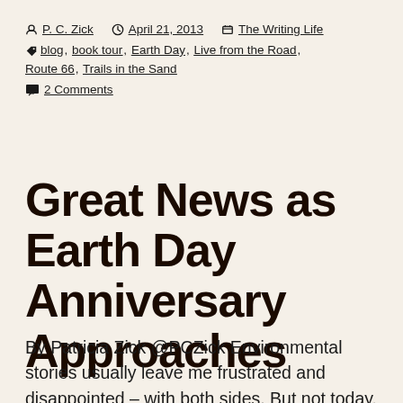By P. C. Zick   April 21, 2013   The Writing Life   blog, book tour, Earth Day, Live from the Road, Route 66, Trails in the Sand   2 Comments
Great News as Earth Day Anniversary Approaches
By Patricia Zick @PCZick Environmental stories usually leave me frustrated and disappointed – with both sides. But not today. Finally, I read